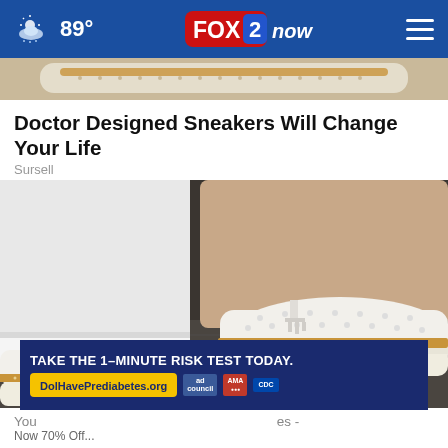89° FOX 2 now
[Figure (photo): Partial view of white and tan doctor-designed sneakers from the top]
Doctor Designed Sneakers Will Change Your Life
Sursell
[Figure (photo): Close-up photo of person wearing white perforated slip-on sneakers with tan/gold sole detail and tassel, on pavement]
TAKE THE 1-MINUTE RISK TEST TODAY. DolHavePrediabetes.org
You es - Now 70% Off...